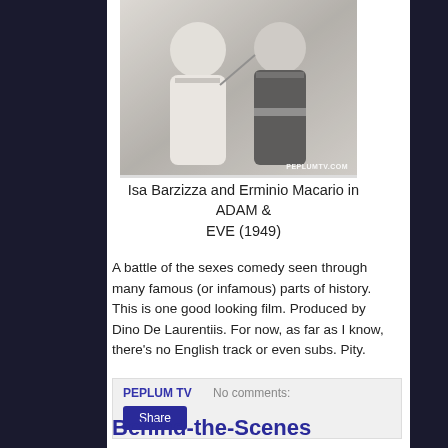[Figure (photo): Black and white photo of Isa Barzizza and Erminio Macario in a scene from ADAM & EVE (1949). Watermark: PEPLUMTV.COM]
Isa Barzizza and Erminio Macario in ADAM & EVE (1949)
A battle of the sexes comedy seen through many famous (or infamous) parts of history. This is one good looking film. Produced by Dino De Laurentiis. For now, as far as I know, there's no English track or even subs. Pity.
PEPLUM TV   No comments:
Share
Behind-the-Scenes